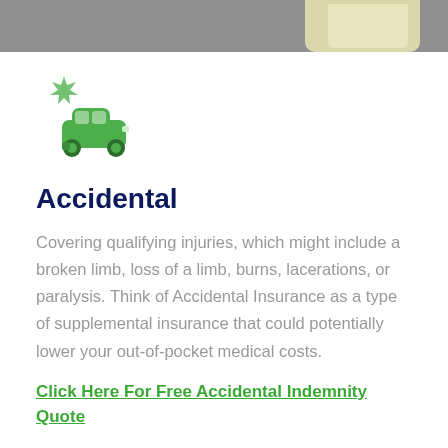[Figure (photo): Top portion of a food/document image visible at the top of the page — grey surface with a light-coloured object in the upper right corner]
[Figure (illustration): Green car accident icon — a green car silhouette with a starburst impact mark on the upper left]
Accidental
Covering qualifying injuries, which might include a broken limb, loss of a limb, burns, lacerations, or paralysis. Think of Accidental Insurance as a type of supplemental insurance that could potentially lower your out-of-pocket medical costs.
Click Here For Free Accidental Indemnity Quote